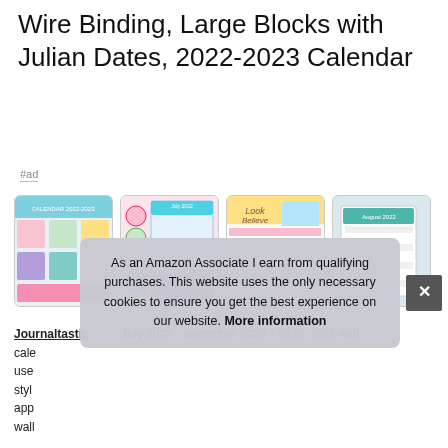Wire Binding, Large Blocks with Julian Dates, 2022-2023 Calendar
#ad
[Figure (photo): Four thumbnail images of colorful 2022-2023 wall calendars with rainbow/watercolor style designs]
Journaltastic #ad - July 2022 - december 2023 - 2022-2023 wall cale... use... styl... app... wall...
As an Amazon Associate I earn from qualifying purchases. This website uses the only necessary cookies to ensure you get the best experience on our website. More information